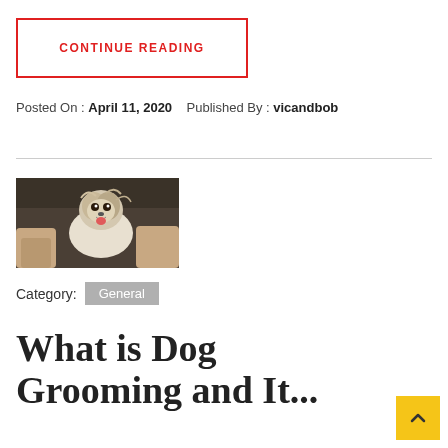CONTINUE READING
Posted On : April 11, 2020   Published By : vicandbob
[Figure (photo): Small fluffy dog being groomed, held by human hands with a red collar visible]
Category: General
What is Dog Grooming and It...